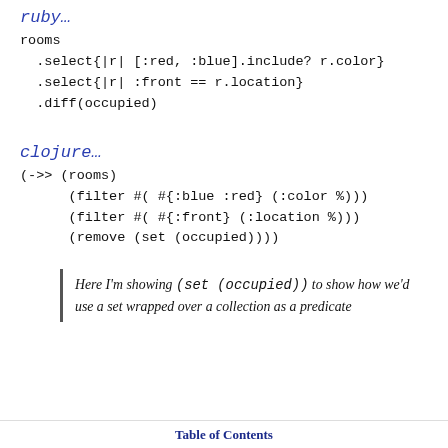ruby…
rooms
  .select{|r| [:red, :blue].include? r.color}
  .select{|r| :front == r.location}
  .diff(occupied)
clojure…
(->> (rooms)
      (filter #( #{:blue :red} (:color %)))
      (filter #( #{:front} (:location %)))
      (remove (set (occupied))))
Here I'm showing (set (occupied)) to show how we'd use a set wrapped over a collection as a predicate
Table of Contents